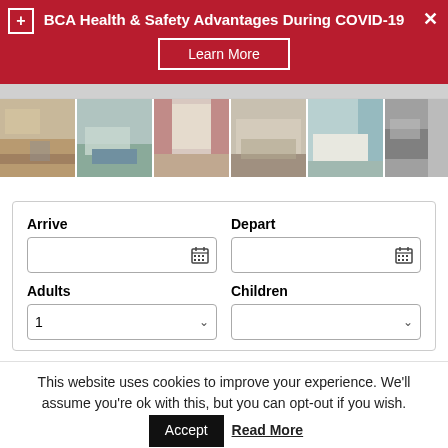BCA Health & Safety Advantages During COVID-19
Learn More
[Figure (photo): Gallery strip of 6 hotel room thumbnail photos]
Arrive
Depart
Adults
Children
This website uses cookies to improve your experience. We'll assume you're ok with this, but you can opt-out if you wish.
Accept
Read More